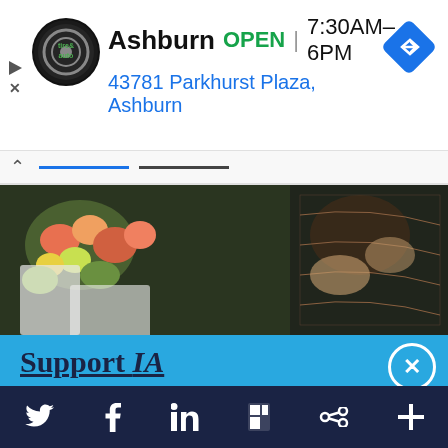[Figure (screenshot): Ad banner for Virginia tire & auto in Ashburn showing logo, OPEN status, hours 7:30AM-6PM, address 43781 Parkhurst Plaza Ashburn, and navigation arrow icon]
Ashburn  OPEN  |  7:30AM–6PM
43781 Parkhurst Plaza, Ashburn
[Figure (photo): Video thumbnail showing flowers and people at what appears to be a market or floral shop]
Support IA
Subscribe to IA and investigate Australia today.
Close   Subscribe   Donate
Twitter  Facebook  LinkedIn  Flipboard  Share  More